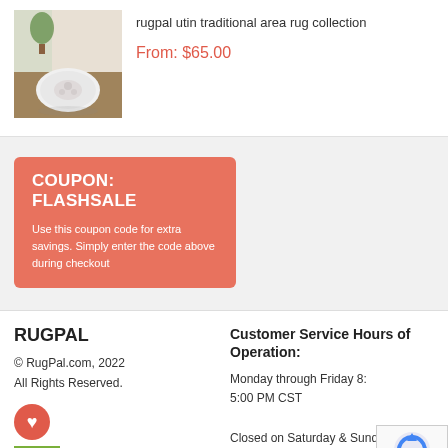[Figure (photo): Product photo of a white oval area rug with subtle floral pattern on a hardwood floor background]
rugpal utin traditional area rug collection
From: $65.00
COUPON: FLASHSALE
Use this coupon code for extra savings. Simply enter the code above during checkout
RUGPAL
© RugPal.com, 2022 All Rights Reserved.
Customer Service Hours of Operation:
Monday through Friday 8: 5:00 PM CST
Closed on Saturday & Sunday